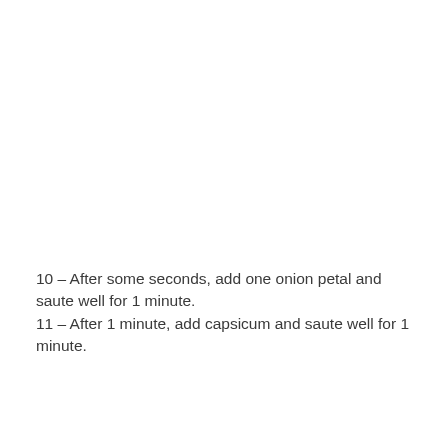10 – After some seconds, add one onion petal and saute well for 1 minute.
11 – After 1 minute, add capsicum and saute well for 1 minute.